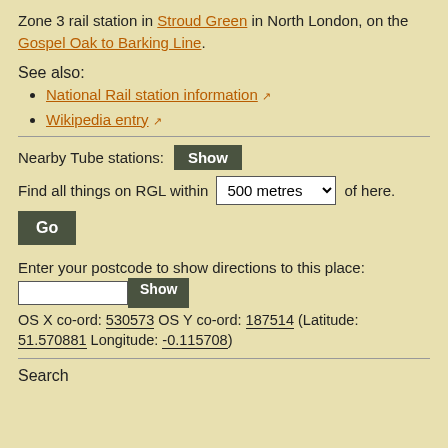Zone 3 rail station in Stroud Green in North London, on the Gospel Oak to Barking Line.
See also:
National Rail station information [external link]
Wikipedia entry [external link]
Nearby Tube stations: Show
Find all things on RGL within 500 metres of here. Go
Enter your postcode to show directions to this place: [input] Show
OS X co-ord: 530573 OS Y co-ord: 187514 (Latitude: 51.570881 Longitude: -0.115708)
Search